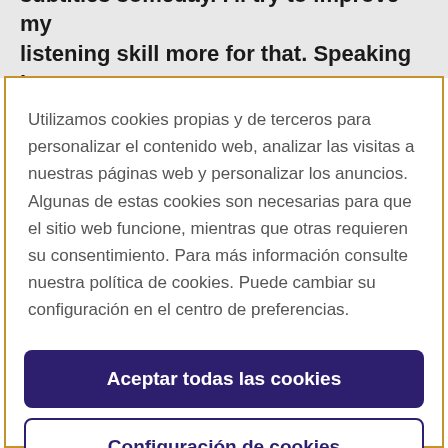subtitles someday. I'll try to improve my listening skill more for that. Speaking is
Utilizamos cookies propias y de terceros para personalizar el contenido web, analizar las visitas a nuestras páginas web y personalizar los anuncios. Algunas de estas cookies son necesarias para que el sitio web funcione, mientras que otras requieren su consentimiento. Para más información consulte nuestra política de cookies. Puede cambiar su configuración en el centro de preferencias.
Aceptar todas las cookies
Configuración de cookies